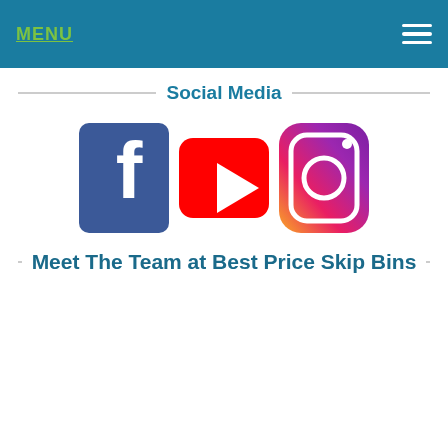MENU
Social Media
[Figure (logo): Three social media icons: Facebook (blue square with white 'f'), YouTube (red rectangle with white play button), and Instagram (gradient circle camera icon)]
Meet The Team at Best Price Skip Bins